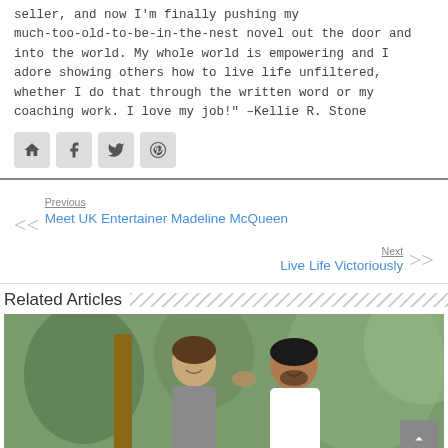seller, and now I'm finally pushing my much-too-old-to-be-in-the-nest novel out the door and into the world. My whole world is empowering and I adore showing others how to live life unfiltered, whether I do that through the written word or my coaching work. I love my job!" -Kellie R. Stone
[Figure (other): Social media icons: home, facebook, twitter, pinterest]
Previous
Meet UK Entertainer Madeline McQueen
Next
Live Life Victoriously
Related Articles
[Figure (photo): A man and woman smiling and giving a high five outdoors with trees in background]